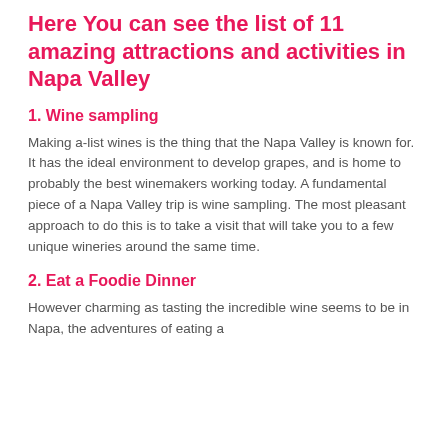Here You can see the list of 11 amazing attractions and activities in Napa Valley
1. Wine sampling
Making a-list wines is the thing that the Napa Valley is known for. It has the ideal environment to develop grapes, and is home to probably the best winemakers working today. A fundamental piece of a Napa Valley trip is wine sampling. The most pleasant approach to do this is to take a visit that will take you to a few unique wineries around the same time.
2. Eat a Foodie Dinner
However charming as tasting the incredible wine seems to be in Napa, the adventures of eating a